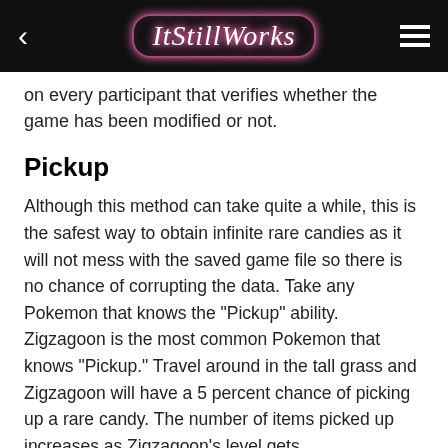ItStillWorks
on every participant that verifies whether the game has been modified or not.
Pickup
Although this method can take quite a while, this is the safest way to obtain infinite rare candies as it will not mess with the saved game file so there is no chance of corrupting the data. Take any Pokemon that knows the "Pickup" ability. Zigzagoon is the most common Pokemon that knows "Pickup." Travel around in the tall grass and Zigzagoon will have a 5 percent chance of picking up a rare candy. The number of items picked up increases as Zigzagoon's level gets